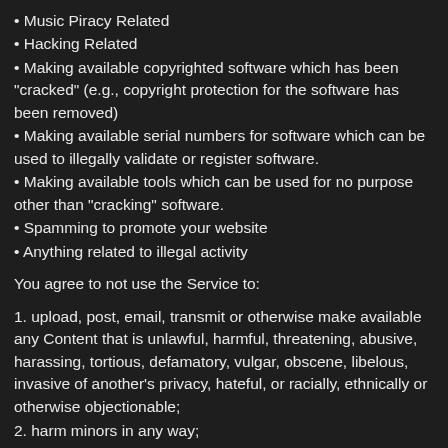• Music Piracy Related
• Hacking Related
• Making available copyrighted software which has been "cracked" (e.g., copyright protection for the software has been removed)
• Making available serial numbers for software which can be used to illegally validate or register software.
• Making available tools which can be used for no purpose other than "cracking" software.
• Spamming to promote your website
• Anything related to illegal activity
You agree to not use the Service to:
1. upload, post, email, transmit or otherwise make available any Content that is unlawful, harmful, threatening, abusive, harassing, tortious, defamatory, vulgar, obscene, libelous, invasive of another's privacy, hateful, or racially, ethnically or otherwise objectionable;
2. harm minors in any way;
3. impersonate any person or entity.
4. forge headers or otherwise manipulate identifiers in order